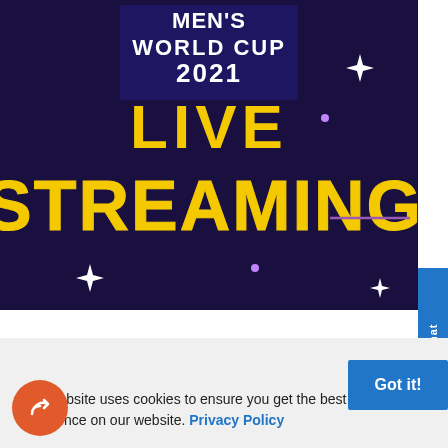[Figure (screenshot): Men's World Cup 2021 Live Streaming promotional banner with dark purple/navy background, yellow 'LIVE' text and yellow outlined 'STREAMING' text, white star decorations]
Live Chat
This website uses cookies to ensure you get the best experience on our website. Privacy Policy
Got it!